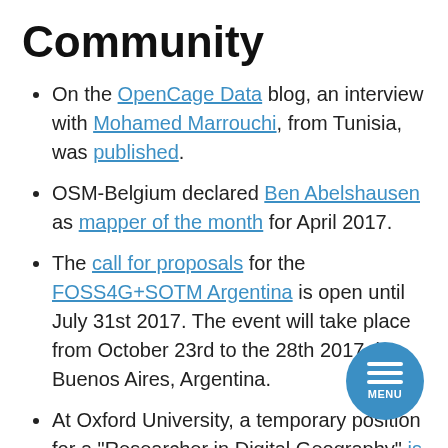Community
On the OpenCage Data blog, an interview with Mohamed Marrouchi, from Tunisia, was published.
OSM-Belgium declared Ben Abelshausen as mapper of the month for April 2017.
The call for proposals for the FOSS4G+SOTM Argentina is open until July 31st 2017. The event will take place from October 23rd to the 28th 2017, in Buenos Aires, Argentina.
At Oxford University, a temporary position for a "Researcher in Digital Geography" is vacant. Application deadline is June 15, 2017.
Continuing the work of the Humanitarian Mapping Unit (UHM) in the first emergency in the city of Mocoa, the OpenStreetMap Colombia Foundation will conduct a workshop to provide